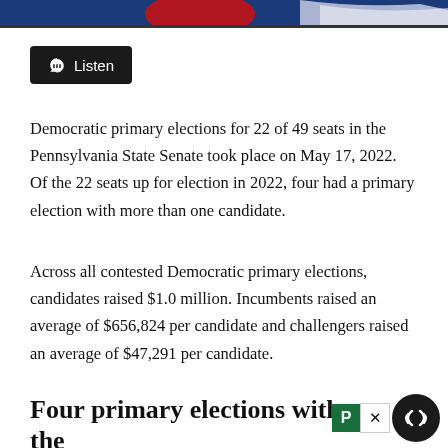[Figure (illustration): Partial banner image with blue and red design elements at the top of the page]
[Figure (other): Listen button with headphone icon on dark background]
Democratic primary elections for 22 of 49 seats in the Pennsylvania State Senate took place on May 17, 2022. Of the 22 seats up for election in 2022, four had a primary election with more than one candidate.
Across all contested Democratic primary elections, candidates raised $1.0 million. Incumbents raised an average of $656,824 per candidate and challengers raised an average of $47,291 per candidate.
Four primary elections with the most for decision